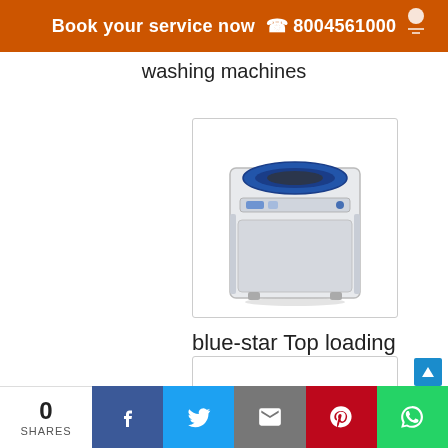Book your service now  8004561000
washing machines
[Figure (photo): Blue-star top loading washing machine, white body with blue circular lid, shown from a front-angle perspective inside a bordered image box]
blue-star Top loading washing machine
[Figure (photo): Partially visible second product image box at bottom of page]